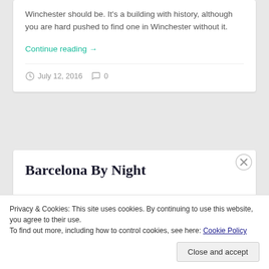Winchester should be. It's a building with history, although you are hard pushed to find one in Winchester without it.
Continue reading →
July 12, 2016  0
Barcelona By Night
Privacy & Cookies: This site uses cookies. By continuing to use this website, you agree to their use.
To find out more, including how to control cookies, see here: Cookie Policy
Close and accept